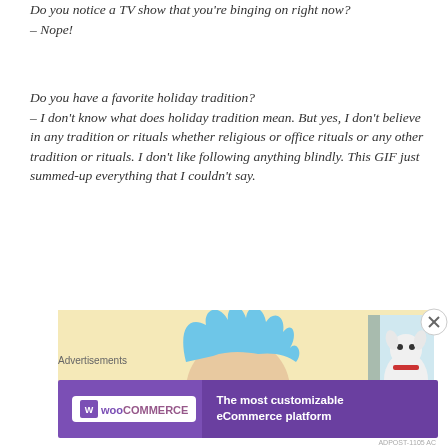Do you notice a TV show that you're binging on right now?
– Nope!
Do you have a favorite holiday tradition?
– I don't know what does holiday tradition mean. But yes, I don't believe in any tradition or rituals whether religious or office rituals or any other tradition or rituals. I don't like following anything blindly. This GIF just summed-up everything that I couldn't say.
[Figure (illustration): Animated cartoon image showing Rick and Morty characters against a light yellow background. Rick character on left with spiky blue hair, Morty on right near a door frame with a white fluffy dog.]
Advertisements
[Figure (other): WooCommerce advertisement banner with purple background. Left side shows WooCommerce logo in white box. Right side reads 'The most customizable eCommerce platform' in white text.]